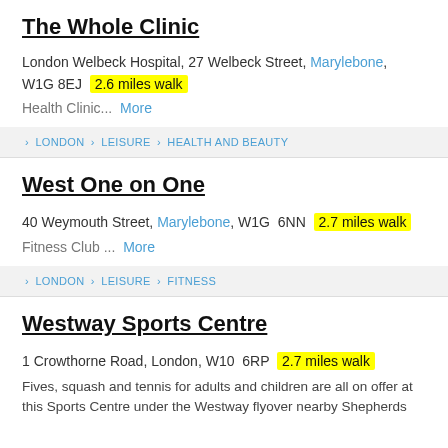The Whole Clinic
London Welbeck Hospital, 27 Welbeck Street, Marylebone, W1G 8EJ  2.6 miles walk
Health Clinic...  More
› LONDON › LEISURE › HEALTH AND BEAUTY
West One on One
40 Weymouth Street, Marylebone, W1G 6NN  2.7 miles walk
Fitness Club ...  More
› LONDON › LEISURE › FITNESS
Westway Sports Centre
1 Crowthorne Road, London, W10 6RP  2.7 miles walk
Fives, squash and tennis for adults and children are all on offer at this Sports Centre under the Westway flyover nearby Shepherds